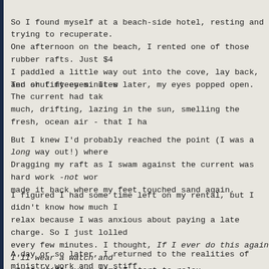So I found myself at a beach-side hotel, resting and trying to recuperate. One afternoon on the beach, I rented one of those rubber rafts. Just $4 I paddled a little way out into the cove, lay back, and shut my eyes. It w
Ten or fifteen minutes later, my eyes popped open. The current had tak much, drifting, lazing in the sun, smelling the fresh, ocean air - that I ha
But I knew I'd probably reached the point (I was a long way out!) where Dragging my raft as I swam against the current was hard work -not wor made it back where my feet touched sand again.
I figured I had some time left on my rental, but I didn't know how much relax because I was anxious about paying a late charge. So I just lolled every few minutes. I thought, If I ever do this again I'll wear a watch and won't drift every time I start to relax.
A day or so later, I returned to the realities of ministry work and my stiff me from that incident.